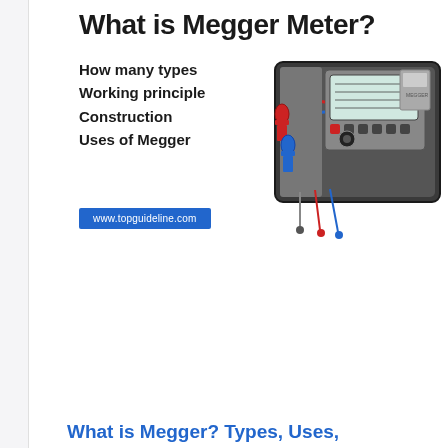What is Megger Meter?
How many types
Working principle
Construction
Uses of Megger
[Figure (photo): Megger insulation resistance tester in open carrying case with test leads (red and blue clamps, probes) attached]
www.topguideline.com
What is Megger? Types, Uses,